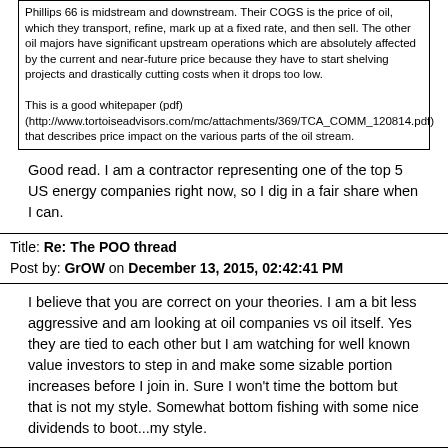Phillips 66 is midstream and downstream. Their COGS is the price of oil, which they transport, refine, mark up at a fixed rate, and then sell. The other oil majors have significant upstream operations which are absolutely affected by the current and near-future price because they have to start shelving projects and drastically cutting costs when it drops too low.

This is a good whitepaper (pdf) (http://www.tortoiseadvisors.com/mc/attachments/369/TCA_COMM_120814.pdf) that describes price impact on the various parts of the oil stream.
Good read. I am a contractor representing one of the top 5 US energy companies right now, so I dig in a fair share when I can.
Title: Re: The POO thread
Post by: GrOW on December 13, 2015, 02:42:41 PM
I believe that you are correct on your theories. I am a bit less aggressive and am looking at oil companies vs oil itself. Yes they are tied to each other but I am watching for well known value investors to step in and make some sizable portion increases before I join in. Sure I won't time the bottom but that is not my style. Somewhat bottom fishing with some nice dividends to boot...my style.
Title: Re: The POO thread
Post by: sol on December 13, 2015, 02:49:23 PM
Aside from the impact on oilpatch ETFs, I think there's a strong case to be made that cheap oil will push up the price of...